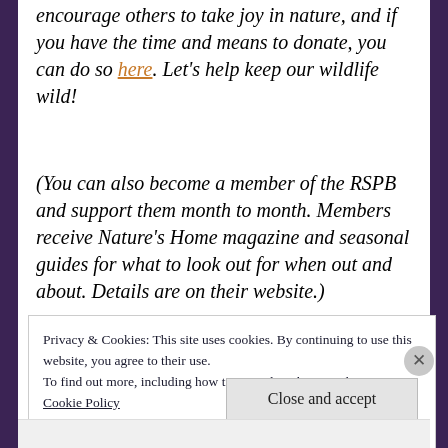encourage others to take joy in nature, and if you have the time and means to donate, you can do so here. Let's help keep our wildlife wild!
(You can also become a member of the RSPB and support them month to month. Members receive Nature's Home magazine and seasonal guides for what to look out for when out and about. Details are on their website.)
Share this:
Privacy & Cookies: This site uses cookies. By continuing to use this website, you agree to their use.
To find out more, including how to control cookies, see here:
Cookie Policy
Close and accept